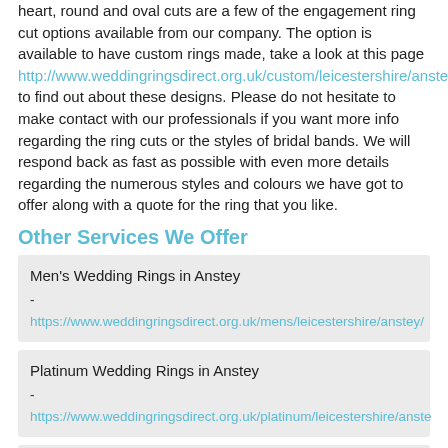heart, round and oval cuts are a few of the engagement ring cut options available from our company. The option is available to have custom rings made, take a look at this page http://www.weddingringsdirect.org.uk/custom/leicestershire/anstey/ to find out about these designs. Please do not hesitate to make contact with our professionals if you want more info regarding the ring cuts or the styles of bridal bands. We will respond back as fast as possible with even more details regarding the numerous styles and colours we have got to offer along with a quote for the ring that you like.
Other Services We Offer
Men's Wedding Rings in Anstey - https://www.weddingringsdirect.org.uk/mens/leicestershire/anstey/
Platinum Wedding Rings in Anstey - https://www.weddingringsdirect.org.uk/platinum/leicestershire/anstey/
Bespoke Wedding Rings in Anstey - https://www.weddingringsdirect.org.uk/custom/leicestershire/anstey/